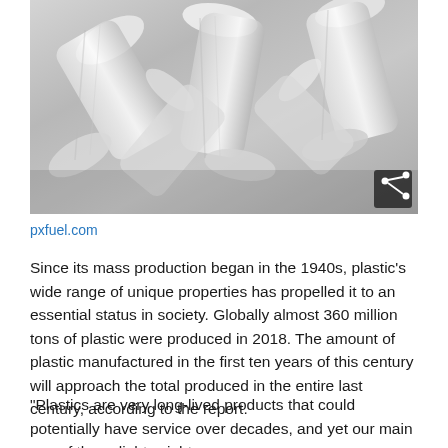[Figure (photo): Pile of clear plastic PET bottle preforms (clear transparent plastic containers) stacked together, photographed from above at an angle]
pxfuel.com
Since its mass production began in the 1940s, plastic's wide range of unique properties has propelled it to an essential status in society. Globally almost 360 million tons of plastic were produced in 2018. The amount of plastic manufactured in the first ten years of this century will approach the total produced in the entire last century, according to the report.
"Plastics are very long-lived products that could potentially have service over decades, and yet our main use of these lightweight,